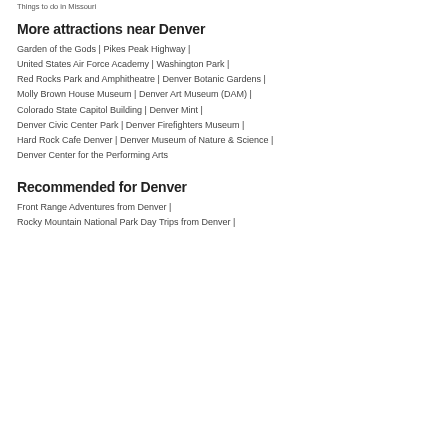Things to do in Missouri
More attractions near Denver
Garden of the Gods | Pikes Peak Highway |
United States Air Force Academy | Washington Park |
Red Rocks Park and Amphitheatre | Denver Botanic Gardens |
Molly Brown House Museum | Denver Art Museum (DAM) |
Colorado State Capitol Building | Denver Mint |
Denver Civic Center Park | Denver Firefighters Museum |
Hard Rock Cafe Denver | Denver Museum of Nature & Science |
Denver Center for the Performing Arts
Recommended for Denver
Front Range Adventures from Denver |
Rocky Mountain National Park Day Trips from Denver |